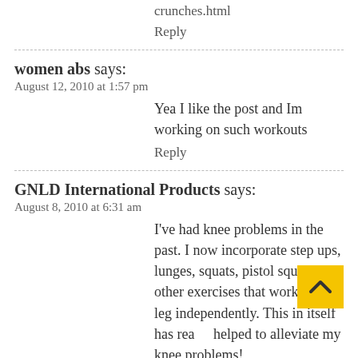crunches.html
Reply
women abs says:
August 12, 2010 at 1:57 pm
Yea I like the post and Im working on such workouts
Reply
GNLD International Products says:
August 8, 2010 at 6:31 am
I've had knee problems in the past. I now incorporate step ups, lunges, squats, pistol squats, and other exercises that work each leg independently. This in itself has really helped to alleviate my knee problems!
Reply